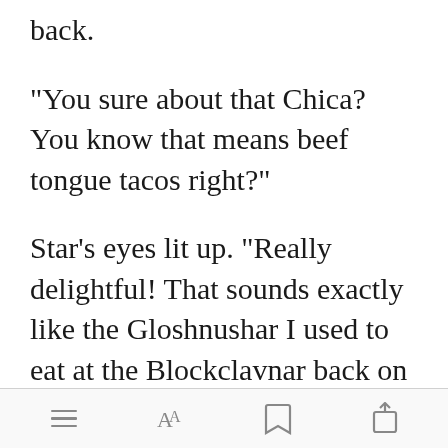back.
"You sure about that Chica? You know that means beef tongue tacos right?"
Star's eyes lit up. "Really delightful! That sounds exactly like the Gloshnushar I used to eat at the Blockclavnar back on Tamaran".
[Figure (screenshot): Green 'Open in app' button]
[Figure (other): App toolbar with hamburger menu, font size, bookmark, and share icons]